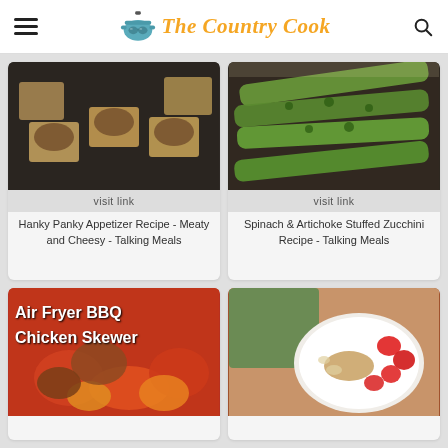The Country Cook
[Figure (photo): Hanky Panky appetizer crackers with meat topping on dark background]
visit link
Hanky Panky Appetizer Recipe - Meaty and Cheesy - Talking Meals
[Figure (photo): Spinach and artichoke stuffed zucchini on dark baking sheet]
visit link
Spinach & Artichoke Stuffed Zucchini Recipe - Talking Meals
[Figure (photo): Air Fryer BBQ Chicken Skewer with text overlay]
[Figure (photo): Bowl with granola, strawberries, and yogurt on green cloth]